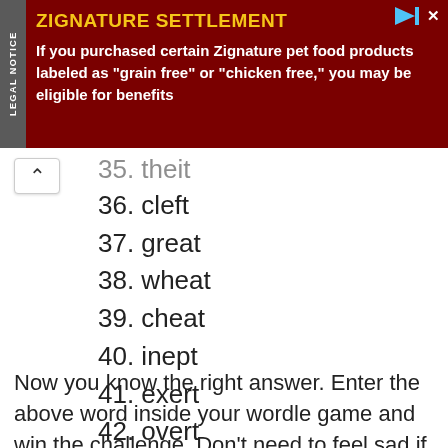[Figure (other): Advertisement banner for Zignature Settlement legal notice. Dark red background with yellow title text 'ZIGNATURE SETTLEMENT' and white body text: 'If you purchased certain Zignature pet food products labeled as "grain free" or "chicken free," you may be eligible for benefits']
35. theit (partial, cut off)
36. cleft
37. great
38. wheat
39. cheat
40. inept
41. exert
42. overt
Now you know the right answer. Enter the above word inside your wordle game and win the challenge. Don't need to feel sad if you are stuck and unable to find the word that contains "__E_T". I hope this article helps you to find your words. above are all the words